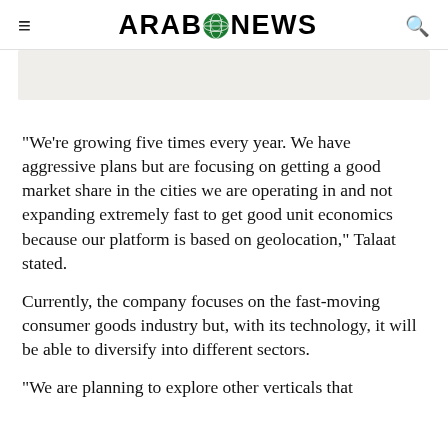ARAB NEWS
[Figure (illustration): Beige/tan colored image placeholder strip]
“We’re growing five times every year. We have aggressive plans but are focusing on getting a good market share in the cities we are operating in and not expanding extremely fast to get good unit economics because our platform is based on geolocation,” Talaat stated.
Currently, the company focuses on the fast-moving consumer goods industry but, with its technology, it will be able to diversify into different sectors.
“We are planning to explore other verticals that